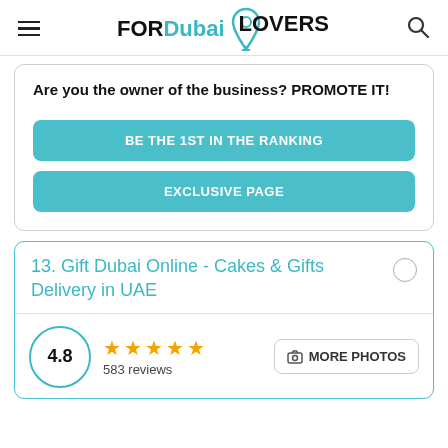FORDubai LOVERS
Are you the owner of the business? PROMOTE IT!
BE THE 1ST IN THE RANKING
EXCLUSIVE PAGE
13. Gift Dubai Online - Cakes & Gifts Delivery in UAE
4.8 — 583 reviews — MORE PHOTOS